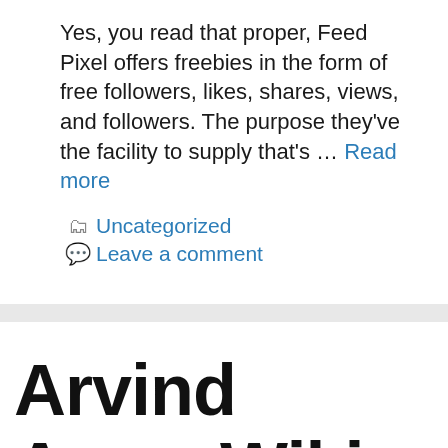Yes, you read that proper, Feed Pixel offers freebies in the form of free followers, likes, shares, views, and followers. The purpose they've the facility to supply that's … Read more
Uncategorized
Leave a comment
Arvind Arora Wiki, Age, Peak, Family, Spouse, Internet